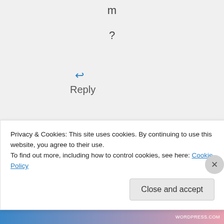m
?
[Figure (other): Blue reply arrow icon]
Reply
Hvaczach on December 18, 2012
Privacy & Cookies: This site uses cookies. By continuing to use this website, you agree to their use.
To find out more, including how to control cookies, see here: Cookie Policy
Close and accept